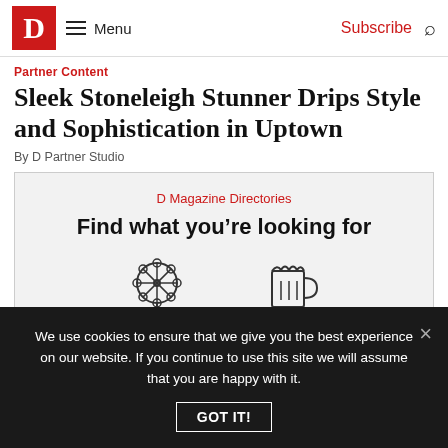D Magazine — Menu | Subscribe | Search
Partner Content
Sleek Stoneleigh Stunner Drips Style and Sophistication in Uptown
By D Partner Studio
[Figure (infographic): D Magazine Directories ad box with text 'Find what you're looking for' and icons for attractions (Ferris wheel) and bars/restaurants (beer mug)]
We use cookies to ensure that we give you the best experience on our website. If you continue to use this site we will assume that you are happy with it. GOT IT!